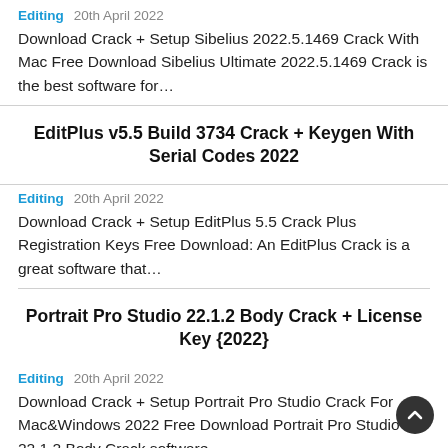Editing  20th April 2022
Download Crack + Setup Sibelius 2022.5.1469 Crack With Mac Free Download Sibelius Ultimate 2022.5.1469 Crack is the best software for…
EditPlus v5.5 Build 3734 Crack + Keygen With Serial Codes 2022
Editing  20th April 2022
Download Crack + Setup EditPlus 5.5 Crack Plus Registration Keys Free Download: An EditPlus Crack is a great software that…
Portrait Pro Studio 22.1.2 Body Crack + License Key {2022}
Editing  20th April 2022
Download Crack + Setup Portrait Pro Studio Crack For Mac&Windows 2022 Free Download Portrait Pro Studio 22.1.2 Body Crack software…